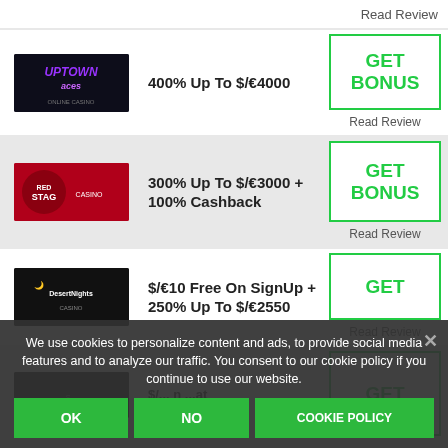Read Review
[Figure (logo): Uptown Aces online casino logo - dark background with purple/white text]
400% Up To $/€4000
GET BONUS
Read Review
[Figure (logo): Red Stag casino logo - red background with white text]
300% Up To $/€3000 + 100% Cashback
GET BONUS
Read Review
[Figure (logo): Desert Nights casino logo - dark background]
$/€10 Free On SignUp + 250% Up To $/€2550
GET
Read Review
GET
We use cookies to personalize content and ads, to provide social media features and to analyze our traffic. You consent to our cookie policy if you continue to use our website.
OK
NO
COOKIE POLICY